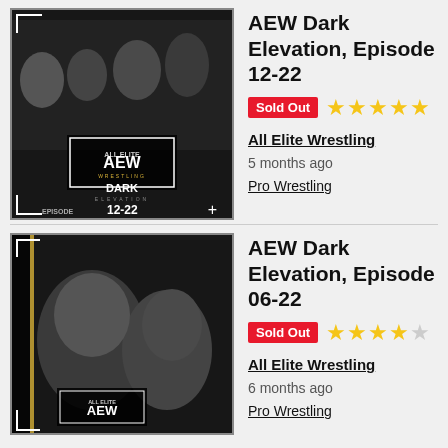[Figure (photo): AEW Dark Elevation Episode 12-22 thumbnail showing wrestlers]
AEW Dark Elevation, Episode 12-22
Sold Out ★★★★★
All Elite Wrestling
5 months ago
Pro Wrestling
[Figure (photo): AEW Dark Elevation Episode 06-22 thumbnail showing wrestlers]
AEW Dark Elevation, Episode 06-22
Sold Out ★★★★☆
All Elite Wrestling
6 months ago
Pro Wrestling